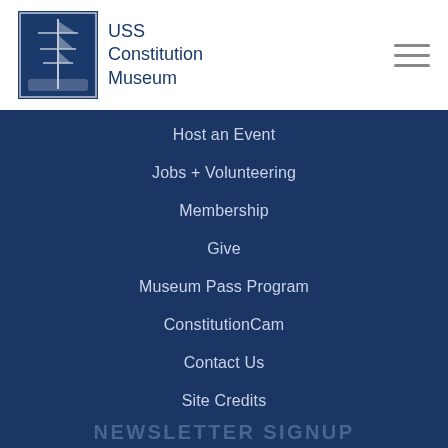USS Constitution Museum
Host an Event
Jobs + Volunteering
Membership
Give
Museum Pass Program
ConstitutionCam
Contact Us
Site Credits
Privacy Policy
Terms of Use
NEWSLETTER SIGNUP